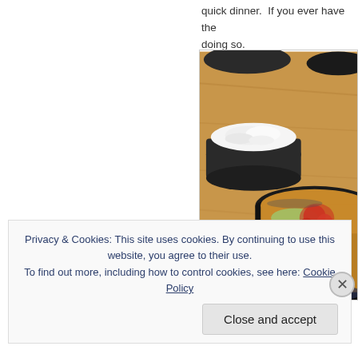quick dinner.  If you ever have the doing so.
[Figure (photo): Korean food — a bowl of white rice in a dark bowl and a dark stone pot filled with soup/stew (appears to be doenjang jjigae or similar Korean soup), on a wooden table surface.]
Privacy & Cookies: This site uses cookies. By continuing to use this website, you agree to their use.
To find out more, including how to control cookies, see here: Cookie Policy
Close and accept